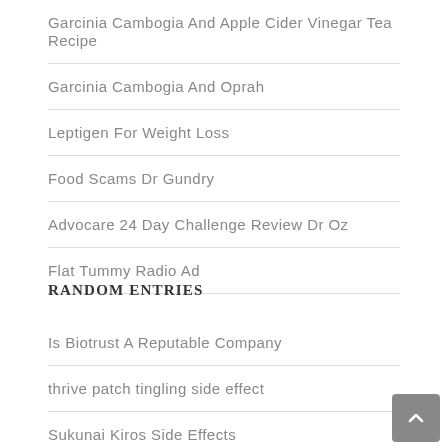Garcinia Cambogia And Apple Cider Vinegar Tea Recipe
Garcinia Cambogia And Oprah
Leptigen For Weight Loss
Food Scams Dr Gundry
Advocare 24 Day Challenge Review Dr Oz
Flat Tummy Radio Ad
RANDOM ENTRIES
Is Biotrust A Reputable Company
thrive patch tingling side effect
Sukunai Kiros Side Effects